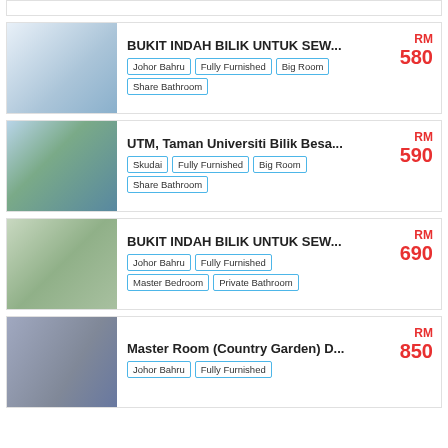BUKIT INDAH BILIK UNTUK SEW... | Johor Bahru | Fully Furnished | Big Room | Share Bathroom | RM 580
UTM, Taman Universiti Bilik Besa... | Skudai | Fully Furnished | Big Room | Share Bathroom | RM 590
BUKIT INDAH BILIK UNTUK SEW... | Johor Bahru | Fully Furnished | Master Bedroom | Private Bathroom | RM 690
Master Room (Country Garden) D... | Johor Bahru | Fully Furnished | RM 850